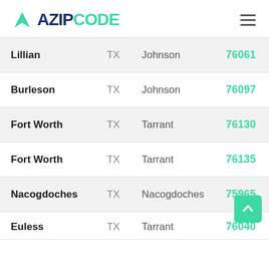AZIPCODE
| City | State | County | ZIP |
| --- | --- | --- | --- |
| Lillian | TX | Johnson | 76061 |
| Burleson | TX | Johnson | 76097 |
| Fort Worth | TX | Tarrant | 76130 |
| Fort Worth | TX | Tarrant | 76135 |
| Nacogdoches | TX | Nacogdoches | 75965 |
| Euless | TX | Tarrant | 76040 |